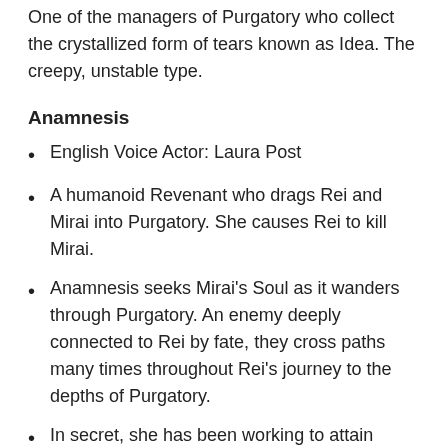One of the managers of Purgatory who collect the crystallized form of tears known as Idea. The creepy, unstable type.
Anamnesis
English Voice Actor: Laura Post
A humanoid Revenant who drags Rei and Mirai into Purgatory. She causes Rei to kill Mirai.
Anamnesis seeks Mirai's Soul as it wanders through Purgatory. An enemy deeply connected to Rei by fate, they cross paths many times throughout Rei's journey to the depths of Purgatory.
In secret, she has been working to attain Revival in order to regain her memories about someone precious to her, and to have her revenge.